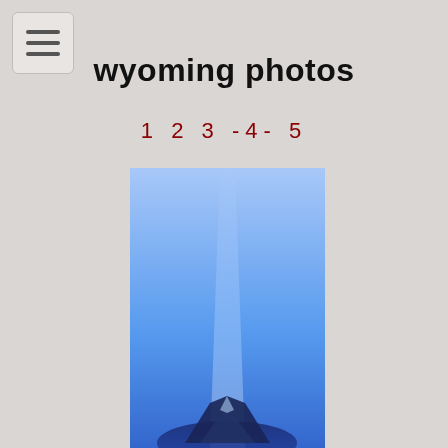[Figure (other): Hamburger menu button icon — three horizontal bars inside a rounded square button in the top left corner]
wyoming photos
1 2 3 -4- 5
[Figure (photo): A mountain or rock formation partially visible at the bottom against a bright blue sky with a soft light beam or geyser stream rising vertically upward in the center of the image]